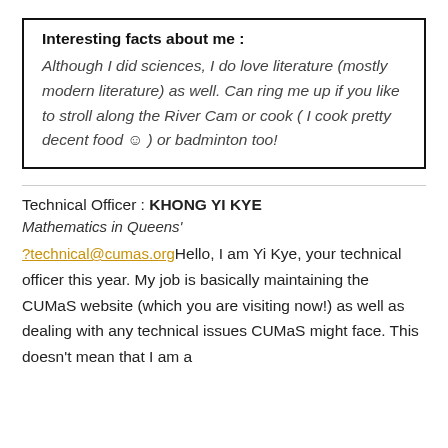Interesting facts about me :
Although I did sciences, I do love literature (mostly modern literature) as well. Can ring me up if you like to stroll along the River Cam or cook ( I cook pretty decent food ☺ ) or badminton too!
Technical Officer : KHONG YI KYE
Mathematics in Queens'
?technical@cumas.orgHello, I am Yi Kye, your technical officer this year. My job is basically maintaining the CUMaS website (which you are visiting now!) as well as dealing with any technical issues CUMaS might face. This doesn't mean that I am a